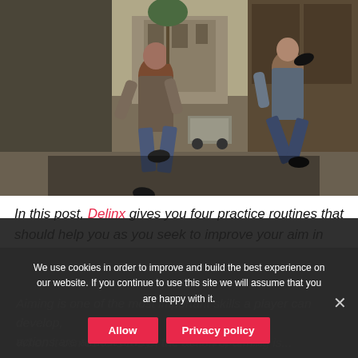[Figure (screenshot): CS:GO game screenshot showing two armed characters in an alley/doorway setting with middle-eastern architecture in background]
In this post, Delinx gives you four practice routines that should help you as you seek to improve your aim in CS:GO.
Aiming is one of the most important skills a player can develop... actions are almost always the most important.
When it comes to CS:GO, the action of aiming is...
We use cookies in order to improve and build the best experience on our website. If you continue to use this site we will assume that you are happy with it.